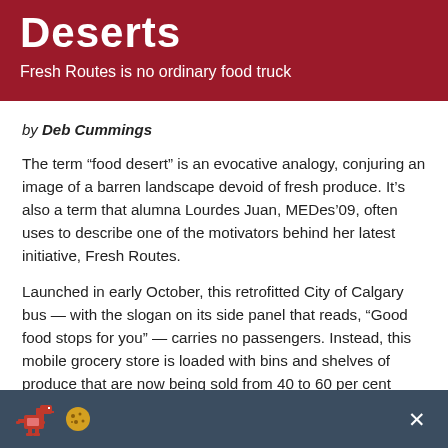Fresh Routes is no ordinary food truck
by Deb Cummings
The term “food desert” is an evocative analogy, conjuring an image of a barren landscape devoid of fresh produce. It’s also a term that alumna Lourdes Juan, MEDes’09, often uses to describe one of the motivators behind her latest initiative, Fresh Routes.
Launched in early October, this retrofitted City of Calgary bus — with the slogan on its side panel that reads, “Good food stops for you” — carries no passengers. Instead, this mobile grocery store is loaded with bins and shelves of produce that are now being sold from 40 to 60 per cent below market value in 20 communities per month.
[Figure (other): Browser notification bar at bottom with pixel-art dinosaur and cookie icons, and a close (x) button, on a dark blue-grey background.]